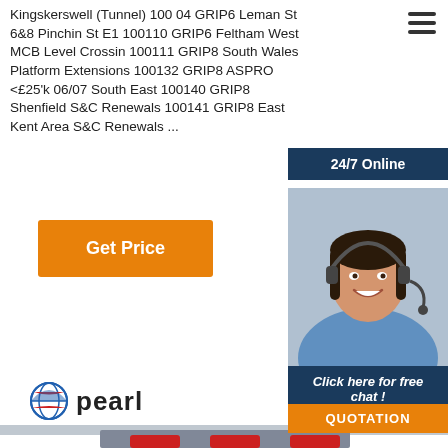Kingskerswell (Tunnel) 100 04 GRIP6 Leman St 6&8 Pinchin St E1 100110 GRIP6 Feltham West MCB Level Crossing 100111 GRIP8 South Wales Platform Extensions 100132 GRIP8 ASPRO <£25'k 06/07 South East 100140 GRIP8 Shenfield S&C Renewals 100141 GRIP8 East Kent Area S&C Renewals ...
[Figure (photo): Customer service agent woman with headset smiling, shown in a dark blue panel with '24/7 Online' label and 'Click here for free chat!' and QUOTATION button]
[Figure (illustration): Orange 'Get Price' button]
[Figure (logo): Pearl company logo with globe icon and the word 'pearl']
[Figure (photo): Industrial dry-type transformer with three red cylindrical coils mounted on a metal frame]
[Figure (other): Orange TOP button with dot-triangle icon indicating scroll to top]